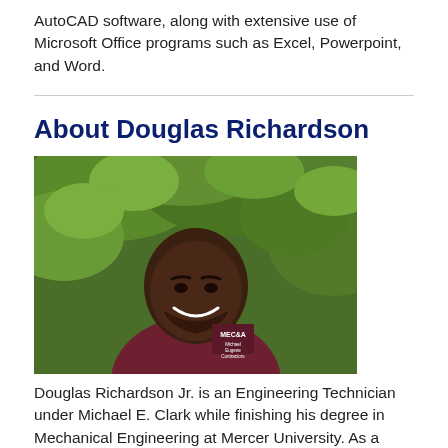AutoCAD software, along with extensive use of Microsoft Office programs such as Excel, Powerpoint, and Word.
About Douglas Richardson
[Figure (photo): Professional headshot of Douglas Richardson Jr. smiling, wearing a maroon MEC&A polo shirt, standing in front of green foliage/trees outdoors.]
Douglas Richardson Jr. is an Engineering Technician under Michael E. Clark while finishing his degree in Mechanical Engineering at Mercer University. As a